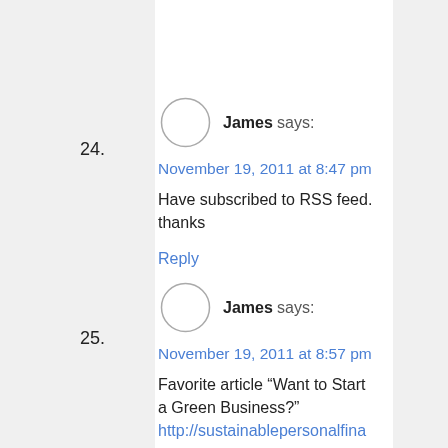24. James says: November 19, 2011 at 8:47 pm — Have subscribed to RSS feed. thanks — Reply
25. James says: November 19, 2011 at 8:57 pm — Favorite article "Want to Start a Green Business?" http://sustainablepersonalfina